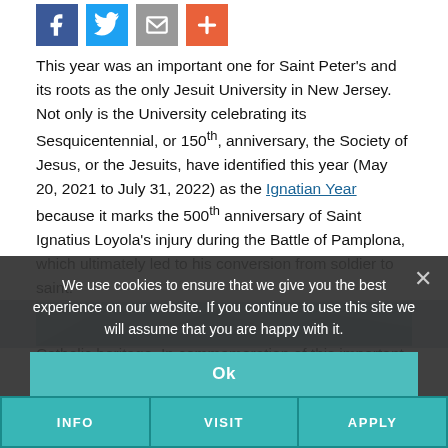[Figure (other): Row of four social sharing icons: Facebook (blue), Twitter (light blue), Email (gray), Add/Plus (orange-red)]
This year was an important one for Saint Peter's and its roots as the only Jesuit University in New Jersey. Not only is the University celebrating its Sesquicentennial, or 150th, anniversary, the Society of Jesus, or the Jesuits, have identified this year (May 20, 2021 to July 31, 2022) as the Ignatian Year because it marks the 500th anniversary of Saint Ignatius Loyola's injury during the Battle of Pamplona, which ultimately led to his conversion from soldier to saint.
Saint Peter's takes great pride in its Jesuit and Catholic heritage. In commemoration of this important year, Carmen Benitez '22, a criminal justice major, shared her experience in embracing the Jesuit values that make Saint Peter's the special place it is.
Cura Personalis
[Figure (photo): Partial view of a photo, partially obscured by cookie consent banner]
We use cookies to ensure that we give you the best experience on our website. If you continue to use this site we will assume that you are happy with it.
Ok
INFO   VISIT   APPLY